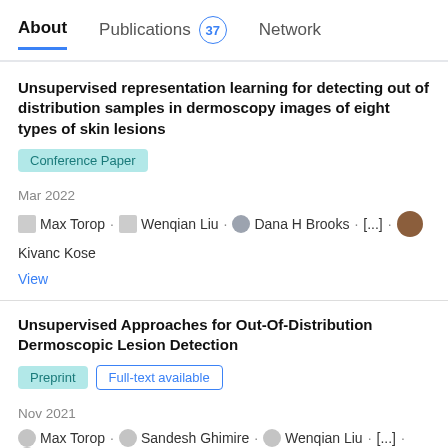About   Publications 37   Network
Unsupervised representation learning for detecting out of distribution samples in dermoscopy images of eight types of skin lesions
Conference Paper
Mar 2022
Max Torop · Wenqian Liu · Dana H Brooks · [...] · Kivanc Kose
View
Unsupervised Approaches for Out-Of-Distribution Dermoscopic Lesion Detection
Preprint   Full-text available
Nov 2021
Max Torop · Sandesh Ghimire · Wenqian Liu · [...] · Kivanc Kose
There are limited works showing the efficacy of unsupervised